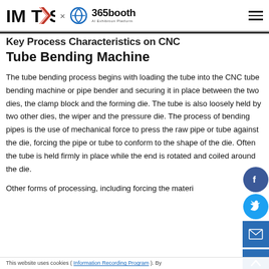IMTS × 365booth AI Exhibition Platform
Key Process Characteristics on CNC Tube Bending Machine
The tube bending process begins with loading the tube into the CNC tube bending machine or pipe bender and securing it in place between the two dies, the clamp block and the forming die. The tube is also loosely held by two other dies, the wiper and the pressure die. The process of bending pipes is the use of mechanical force to press the raw pipe or tube against the die, forcing the pipe or tube to conform to the shape of the die. Often the tube is held firmly in place while the end is rotated and coiled around the die.
Other forms of processing, including forcing the material
This website uses cookies ( Information Recording Program ). By